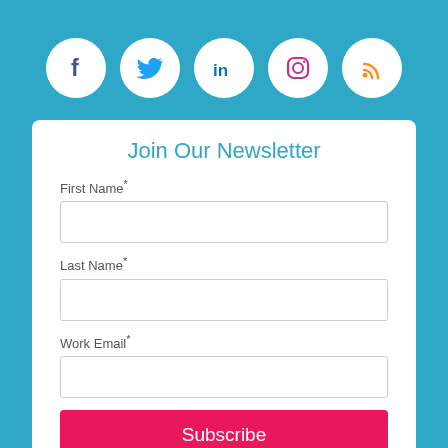[Figure (infographic): Row of 5 social media icon circles on teal background: Facebook (blue f), Twitter (blue bird), LinkedIn (blue in), Instagram (pink/red camera outline), RSS (orange wifi/feed symbol)]
Join Our Newsletter
First Name*
Last Name*
Work Email*
Subscribe